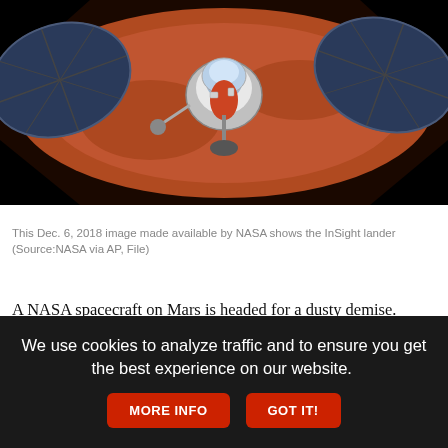[Figure (photo): Aerial/overhead photo of the NASA InSight lander on the Martian surface. The spacecraft is shown from above with two large circular solar panels extended on either side. The Mars surface is reddish-brown with black shadows in corners.]
This Dec. 6, 2018 image made available by NASA shows the InSight lander (Source:NASA via AP, File)
A NASA spacecraft on Mars is headed for a dusty demise.
The Insight lander is losing power because of all the dust on its solar panels. NASA said Tuesday it will keep using the spacecraft's seismometer to register marsquakes until the power peters out, likely in July. Then flight controllers will monitor InSight until the end of this year before calling everything off.
We use cookies to analyze traffic and to ensure you get the best experience on our website.